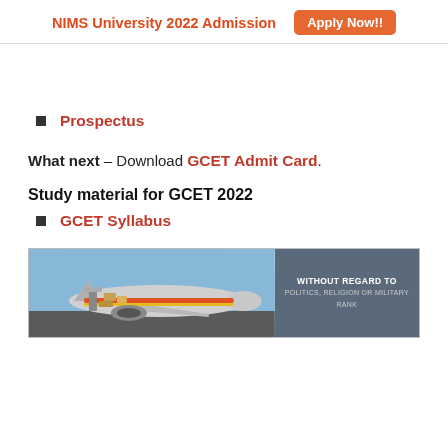NIMS University 2022 Admission  Apply Now!!
Prospectus
What next – Download GCET Admit Card.
Study material for GCET 2022
GCET Syllabus
[Figure (photo): Advertisement banner showing cargo being loaded onto an airplane, with text 'WITHOUT REGARD TO POLITICS, RELIGION OR MILITARY RANK' on a grey panel on the right side.]